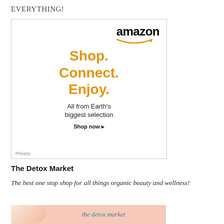EVERYTHING!
[Figure (infographic): Amazon advertisement showing the Amazon logo with smile graphic, large orange text reading 'Shop. Connect. Enjoy.' followed by 'All from Earth's biggest selection' and a 'Shop now' call-to-action button with Privacy label in bottom left corner.]
The Detox Market
The best one stop shop for all things organic beauty and wellness!
[Figure (photo): Cropped photo of a blonde woman on a pink background next to 'the detox market' text in teal italic font.]